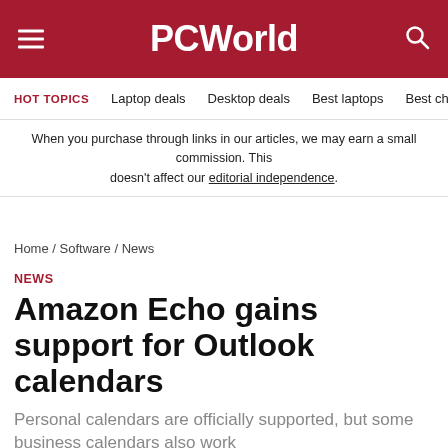PCWorld
HOT TOPICS  Laptop deals  Desktop deals  Best laptops  Best ch
When you purchase through links in our articles, we may earn a small commission. This doesn't affect our editorial independence.
Home / Software / News
NEWS
Amazon Echo gains support for Outlook calendars
Personal calendars are officially supported, but some business calendars also work
By Blair Hanly, From